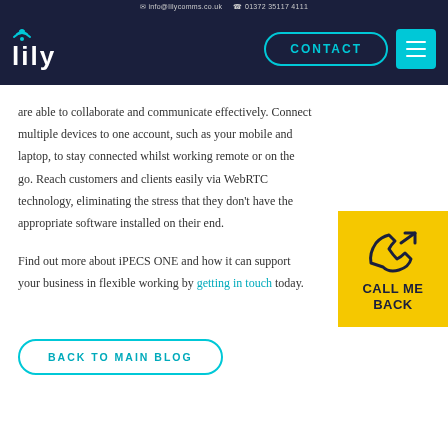info@lilycomms.co.uk  01372 35117 4111
[Figure (logo): Lily logo with WiFi icon above text on dark navy background, with CONTACT button and hamburger menu]
are able to collaborate and communicate effectively. Connect multiple devices to one account, such as your mobile and laptop, to stay connected whilst working remote or on the go. Reach customers and clients easily via WebRTC technology, eliminating the stress that they don't have the appropriate software installed on their end.
Find out more about iPECS ONE and how it can support your business in flexible working by getting in touch today.
[Figure (illustration): Yellow CALL ME BACK button with phone handset icon and arrow]
BACK TO MAIN BLOG